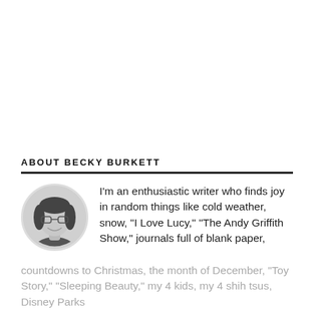ABOUT BECKY BURKETT
[Figure (photo): Circular black and white headshot photo of Becky Burkett, a woman with dark hair and glasses, smiling]
I'm an enthusiastic writer who finds joy in random things like cold weather, snow, "I Love Lucy," "The Andy Griffith Show," journals full of blank paper, countdowns to Christmas, the month of December, "Toy Story," "Sleeping Beauty," my 4 kids, my 4 shih tsus, Disney Parks